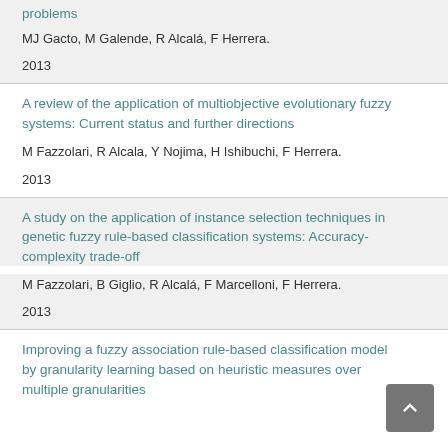problems
MJ Gacto, M Galende, R Alcalá, F Herrera.
2013
A review of the application of multiobjective evolutionary fuzzy systems: Current status and further directions
M Fazzolari, R Alcala, Y Nojima, H Ishibuchi, F Herrera.
2013
A study on the application of instance selection techniques in genetic fuzzy rule-based classification systems: Accuracy-complexity trade-off
M Fazzolari, B Giglio, R Alcalá, F Marcelloni, F Herrera.
2013
Improving a fuzzy association rule-based classification model by granularity learning based on heuristic measures over multiple granularities